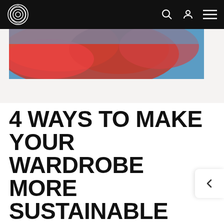Navigation bar with logo, search, account, and menu icons
[Figure (photo): Partial hero image showing red fabric/feathers against blue background]
4 WAYS TO MAKE YOUR WARDROBE MORE SUSTAINABLE
The most sustainable wardrobe is the one you already own. Did you know that by changing the way you wear, wash and care for your clothes can greatly impact the sustainability of a garment?
READ MORE